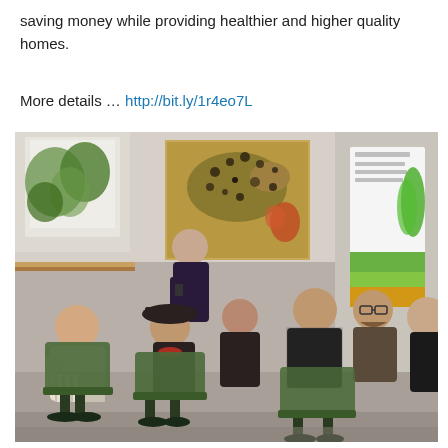saving money while providing healthier and higher quality homes.
More details … http://bit.ly/1r4eo7L
[Figure (photo): Indoor gathering scene showing a group of young adults seated in green office chairs, attending a presentation or talk in a modern open space. A woman stands in the background near a window with plants. A banner for a green/environmental organization is visible on the right side. A painting hangs on the white wall above.]